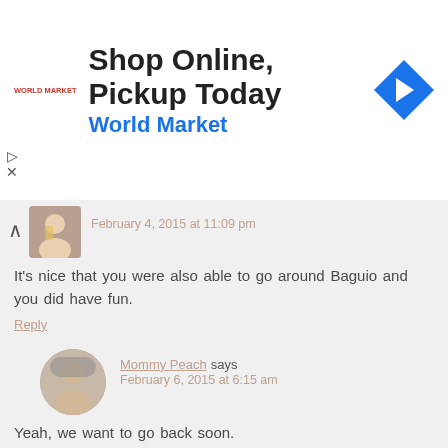[Figure (infographic): Advertisement banner: 'Shop Online, Pickup Today' with World Market branding and blue navigation arrow icon]
February 4, 2015 at 11:09 pm
It's nice that you were also able to go around Baguio and you did have fun.
Reply
Mommy Peach says February 6, 2015 at 6:15 am
Yeah, we want to go back soon.
Reply